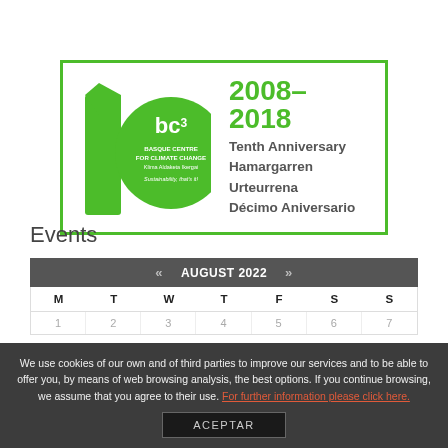[Figure (logo): BC3 Basque Centre for Climate Change 10th Anniversary logo (2008-2018) showing a '1' and circle forming '10', with text 'Tenth Anniversary / Hamargarren Urteurrena / Décimo Aniversario']
Events
| M | T | W | T | F | S | S |
| --- | --- | --- | --- | --- | --- | --- |
| 1 | 2 | 3 | 4 | 5 | 6 | 7 |
We use cookies of our own and of third parties to improve our services and to be able to offer you, by means of web browsing analysis, the best options. If you continue browsing, we assume that you agree to their use. For further information please click here.
ACEPTAR